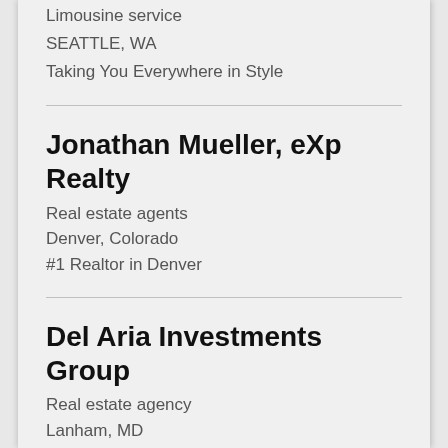Limousine service
SEATTLE, WA
Taking You Everywhere in Style
Jonathan Mueller, eXp Realty
Real estate agents
Denver, Colorado
#1 Realtor in Denver
Del Aria Investments Group
Real estate agency
Lanham, MD
Sell My House Fast Cash Lanham